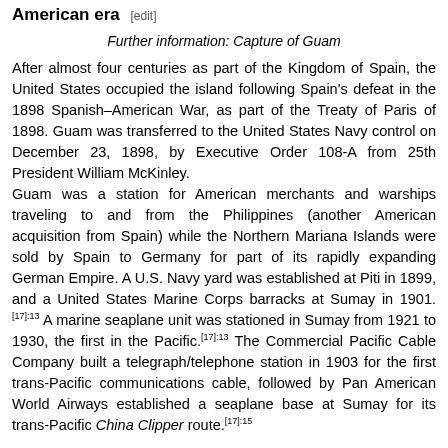American era [edit]
Further information: Capture of Guam
After almost four centuries as part of the Kingdom of Spain, the United States occupied the island following Spain's defeat in the 1898 Spanish–American War, as part of the Treaty of Paris of 1898. Guam was transferred to the United States Navy control on December 23, 1898, by Executive Order 108-A from 25th President William McKinley.
Guam was a station for American merchants and warships traveling to and from the Philippines (another American acquisition from Spain) while the Northern Mariana Islands were sold by Spain to Germany for part of its rapidly expanding German Empire. A U.S. Navy yard was established at Piti in 1899, and a United States Marine Corps barracks at Sumay in 1901.[17]:13 A marine seaplane unit was stationed in Sumay from 1921 to 1930, the first in the Pacific.[17]:13 The Commercial Pacific Cable Company built a telegraph/telephone station in 1903 for the first trans-Pacific communications cable, followed by Pan American World Airways established a seaplane base at Sumay for its trans-Pacific China Clipper route.[17]:15